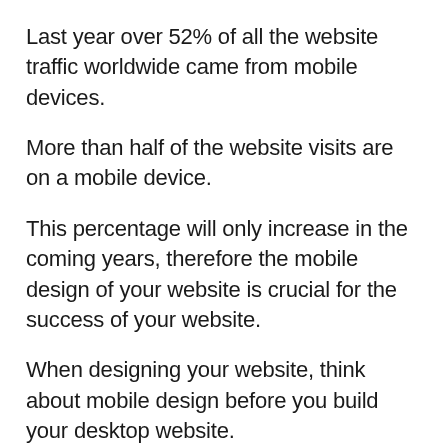Last year over 52% of all the website traffic worldwide came from mobile devices.
More than half of the website visits are on a mobile device.
This percentage will only increase in the coming years, therefore the mobile design of your website is crucial for the success of your website.
When designing your website, think about mobile design before you build your desktop website.